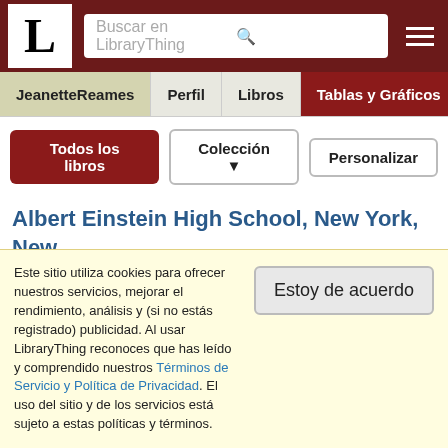LibraryThing - Buscar en LibraryThing
JeanetteReames | Perfil | Libros | Tablas y Gráficos | Reseñas
Todos los libros | Colección ▼ | Personalizar
Albert Einstein High School, New York, New York, USA (Inglés)
The Princess Diaries por Meg Cabot (fictional school)
Alberta, Canada (Inglés)
Este sitio utiliza cookies para ofrecer nuestros servicios, mejorar el rendimiento, análisis y (si no estás registrado) publicidad. Al usar LibraryThing reconoces que has leído y comprendido nuestros Términos de Servicio y Política de Privacidad. El uso del sitio y de los servicios está sujeto a estas políticas y términos.
Estoy de acuerdo